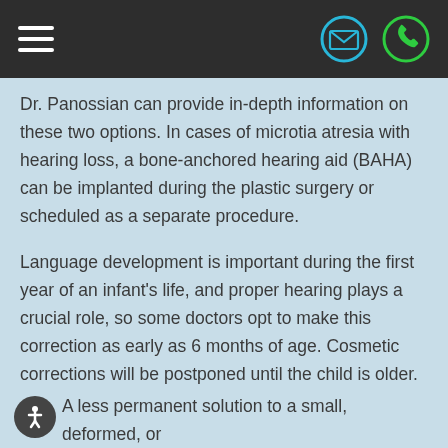Navigation bar with hamburger menu, email icon, and phone icon
Dr. Panossian can provide in-depth information on these two options. In cases of microtia atresia with hearing loss, a bone-anchored hearing aid (BAHA) can be implanted during the plastic surgery or scheduled as a separate procedure.
Language development is important during the first year of an infant's life, and proper hearing plays a crucial role, so some doctors opt to make this correction as early as 6 months of age. Cosmetic corrections will be postponed until the child is older.
A less permanent solution to a small, deformed, or